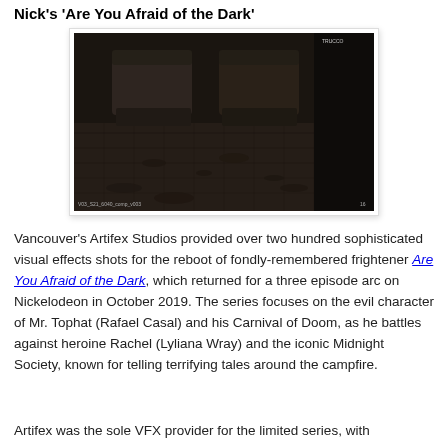Nick's 'Are You Afraid of the Dark'
[Figure (photo): Dark, grainy screenshot from the TV show 'Are You Afraid of the Dark' showing a dimly lit room interior with debris scattered on the floor, with two dark seats/chairs visible in the background. Small text labels appear at the bottom corners of the image.]
Vancouver's Artifex Studios provided over two hundred sophisticated visual effects shots for the reboot of fondly-remembered frightener Are You Afraid of the Dark, which returned for a three episode arc on Nickelodeon in October 2019. The series focuses on the evil character of Mr. Tophat (Rafael Casal) and his Carnival of Doom, as he battles against heroine Rachel (Lyliana Wray) and the iconic Midnight Society, known for telling terrifying tales around the campfire.
Artifex was the sole VFX provider for the limited series, with